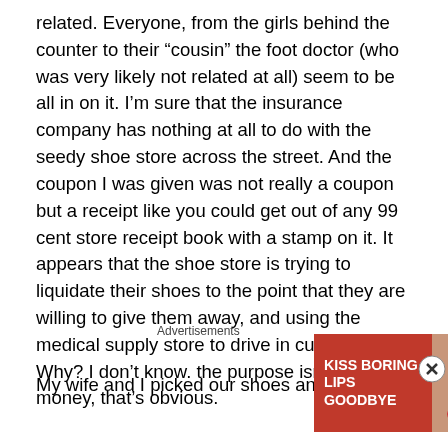related. Everyone, from the girls behind the counter to their “cousin” the foot doctor (who was very likely not related at all) seem to be all in on it. I’m sure that the insurance company has nothing at all to do with the seedy shoe store across the street. And the coupon I was given was not really a coupon but a receipt like you could get out of any 99 cent store receipt book with a stamp on it. It appears that the shoe store is trying to liquidate their shoes to the point that they are willing to give them away, and using the medical supply store to drive in customers. Why? I don’t know. the purpose isn’t to make money, that’s obvious.
My wife and I picked our shoes and I am actually wearing
[Figure (screenshot): Advertisement banner for Macy's with text 'KISS BORING LIPS GOODBYE' and 'SHOP NOW' button with Macy's star logo on red background]